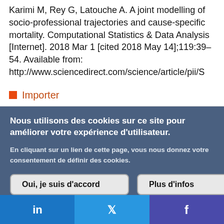Karimi M, Rey G, Latouche A. A joint modelling of socio-professional trajectories and cause-specific mortality. Computational Statistics & Data Analysis [Internet]. 2018 Mar 1 [cited 2018 May 14];119:39–54. Available from: http://www.sciencedirect.com/science/article/pii/S
Importer
Nous utilisons des cookies sur ce site pour améliorer votre expérience d'utilisateur.
En cliquant sur un lien de cette page, vous nous donnez votre consentement de définir des cookies.
Oui, je suis d'accord
Plus d'infos
in  f